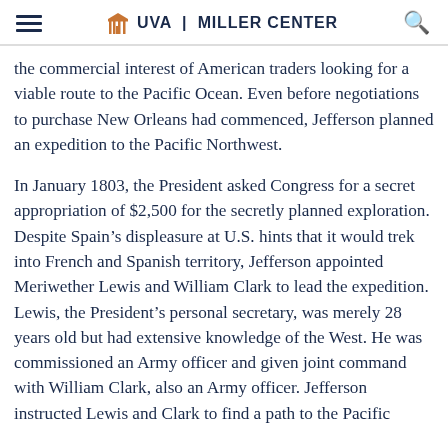UVA | MILLER CENTER
the commercial interest of American traders looking for a viable route to the Pacific Ocean. Even before negotiations to purchase New Orleans had commenced, Jefferson planned an expedition to the Pacific Northwest.
In January 1803, the President asked Congress for a secret appropriation of $2,500 for the secretly planned exploration. Despite Spain’s displeasure at U.S. hints that it would trek into French and Spanish territory, Jefferson appointed Meriwether Lewis and William Clark to lead the expedition. Lewis, the President’s personal secretary, was merely 28 years old but had extensive knowledge of the West. He was commissioned an Army officer and given joint command with William Clark, also an Army officer. Jefferson instructed Lewis and Clark to find a path to the Pacific